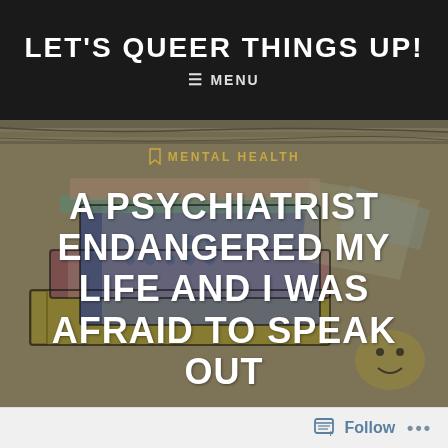LET'S QUEER THINGS UP!
≡ MENU
[Figure (illustration): Illustrated background of stacked colorful books in a pop-art comic style with muted overlay]
MENTAL HEALTH
A PSYCHIATRIST ENDANGERED MY LIFE AND I WAS AFRAID TO SPEAK OUT
Follow ...